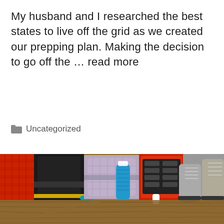My husband and I researched the best states to live off the grid as we created our prepping plan. Making the decision to go off the … read more
Uncategorized
[Figure (photo): Survival/prepping gear laid out on a wooden surface: red sleeping mat, black backpack, purple/grey duffel bag, blue water bottle, red first aid kit with pill organizer, white packaged items, and hiking boots.]